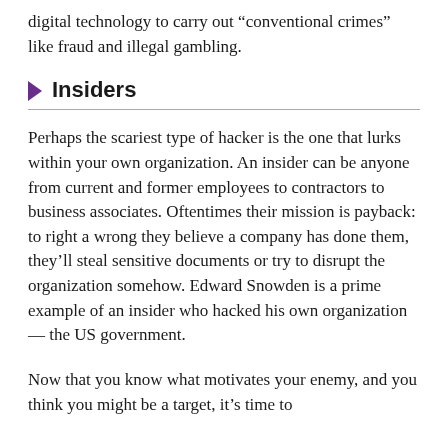digital technology to carry out “conventional crimes” like fraud and illegal gambling.
Insiders
Perhaps the scariest type of hacker is the one that lurks within your own organization. An insider can be anyone from current and former employees to contractors to business associates. Oftentimes their mission is payback: to right a wrong they believe a company has done them, they’ll steal sensitive documents or try to disrupt the organization somehow. Edward Snowden is a prime example of an insider who hacked his own organization — the US government.
Now that you know what motivates your enemy, and you think you might be a target, it’s time to